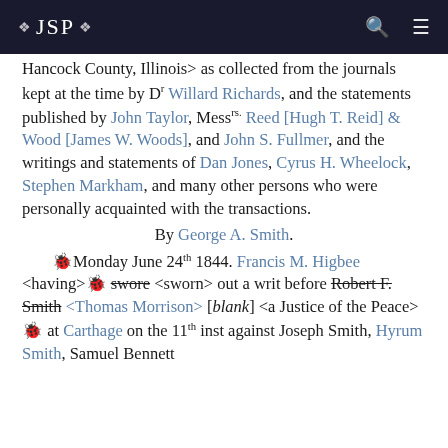JSP
Hancock County, Illinois> as collected from the journals kept at the time by Dr Willard Richards, and the statements published by John Taylor, Messrs. Reed [Hugh T. Reid] & Wood [James W. Woods], and John S. Fullmer, and the writings and statements of Dan Jones, Cyrus H. Wheelock, Stephen Markham, and many other persons who were personally acquainted with the transactions.
By George A. Smith.
Monday June 24th 1844. Francis M. Higbee <having> swore <sworn> out a writ before Robert F. Smith <Thomas Morrison> [blank] <a Justice of the Peace> at Carthage on the 11th inst against Joseph Smith, Hyrum Smith, Samuel Bennett